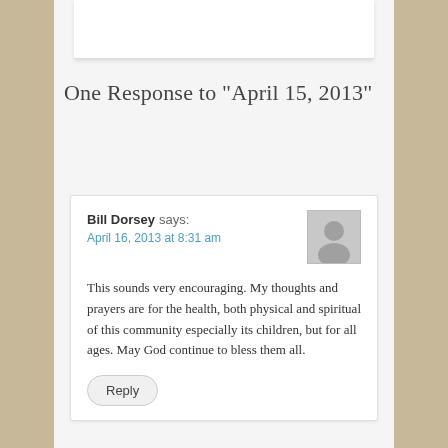One Response to "April 15, 2013"
Bill Dorsey says:
April 16, 2013 at 8:31 am

This sounds very encouraging. My thoughts and prayers are for the health, both physical and spiritual of this community especially its children, but for all ages. May God continue to bless them all.
Reply